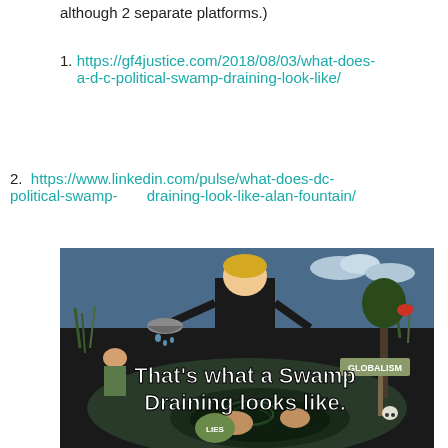although 2 separate platforms.)
1. https://gf4justice.com/2018/08/03/what-does-a-d-c-political-swamp-draining-look-like/
2. https://www.linkedin.com/pulse/what-does-dc-political-swamp-      draining-look-like-alan-fountain/
[Figure (illustration): Political cartoon illustration showing a figure draining a swamp with text overlay reading 'That's what a Swamp Draining looks like.' with a 'GLOBALISM' sign and various characters in the swamp.]